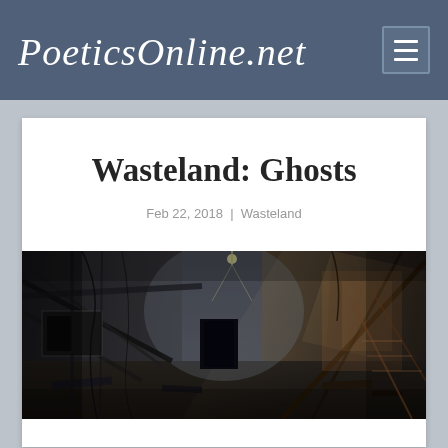PoeticsOnline.net
Wasteland: Ghosts
Feb 22, 2018 | Wasteland
[Figure (photo): Abandoned industrial interior with dramatic light shafts, broken beams, rubble, and graffiti-covered walls in dark tones of grey and brown]